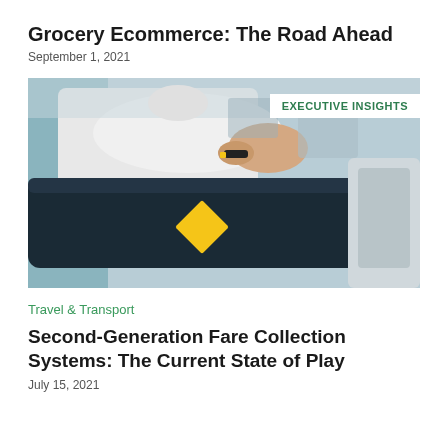Grocery Ecommerce: The Road Ahead
September 1, 2021
[Figure (photo): Photo of a person in a white long-sleeve shirt placing items on a dark conveyor belt at a checkout or fare gate, with a yellow square marker on the belt. An 'EXECUTIVE INSIGHTS' badge is overlaid on the top right of the image.]
Travel & Transport
Second-Generation Fare Collection Systems: The Current State of Play
July 15, 2021